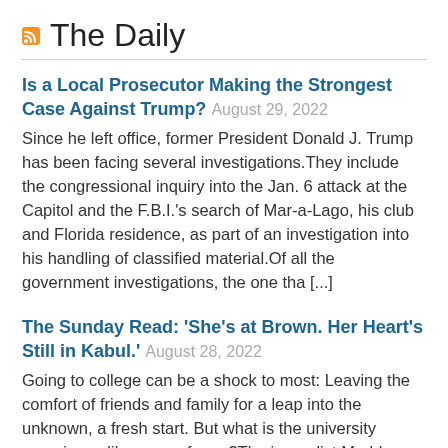The Daily
Is a Local Prosecutor Making the Strongest Case Against Trump?
August 29, 2022
Since he left office, former President Donald J. Trump has been facing several investigations.They include the congressional inquiry into the Jan. 6 attack at the Capitol and the F.B.I.'s search of Mar-a-Lago, his club and Florida residence, as part of an investigation into his handling of classified material.Of all the government investigations, the one tha [...]
The Sunday Read: ‘She’s at Brown. Her Heart’s Still in Kabul.’
August 28, 2022
Going to college can be a shock to most: Leaving the comfort of friends and family for a leap into the unknown, a fresh start. But what is the university experience like as a refugee?The journalist Maddy